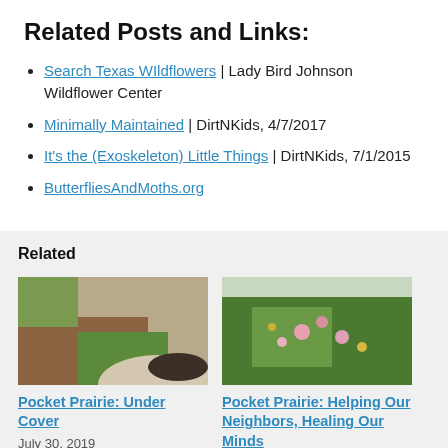Related Posts and Links:
Search Texas WIldflowers | Lady Bird Johnson Wildflower Center
Minimally Maintained | DirtNKids, 4/7/2017
It's the (Exoskeleton) Little Things | DirtNKids, 7/1/2015
ButterfliesAndMoths.org
Related
[Figure (photo): Pocket Prairie: Under Cover - garden with mulch and grass pathway]
Pocket Prairie: Under Cover
July 30, 2019
[Figure (photo): Pocket Prairie: Helping Our Neighbors, Healing Our Minds - wildflowers and green plants]
Pocket Prairie: Helping Our Neighbors, Healing Our Minds
Our Minds